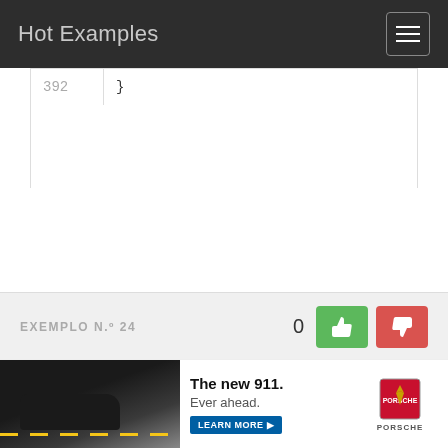Hot Examples
392	}
EXEMPLO N.º 24
[Figure (screenshot): Porsche 911 advertisement banner: car photo on dark road background, text 'The new 911. Ever ahead.' with LEARN MORE button and Porsche logo]